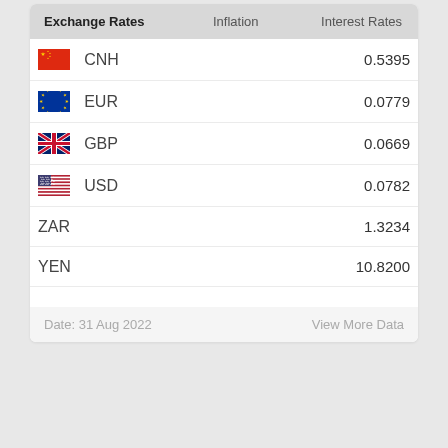| Exchange Rates | Inflation | Interest Rates |
| --- | --- | --- |
| CNH |  | 0.5395 |
| EUR |  | 0.0779 |
| GBP |  | 0.0669 |
| USD |  | 0.0782 |
| ZAR |  | 1.3234 |
| YEN |  | 10.8200 |
Date: 31 Aug 2022
View More Data